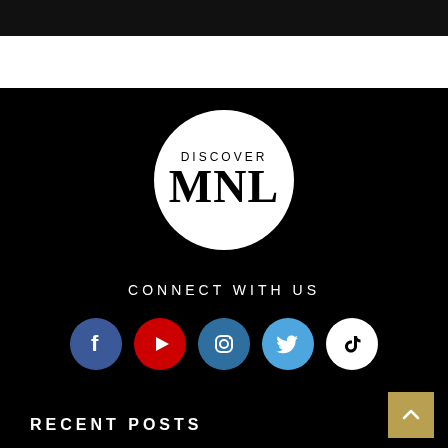[Figure (logo): Discover MNL logo: white circle with 'DISCOVER' text above 'MNL' in large serif font]
CONNECT WITH US
[Figure (infographic): Row of five social media icons: Facebook (blue), YouTube (red), Instagram (dark blue), Twitter (light blue), TikTok (white)]
RECENT POSTS